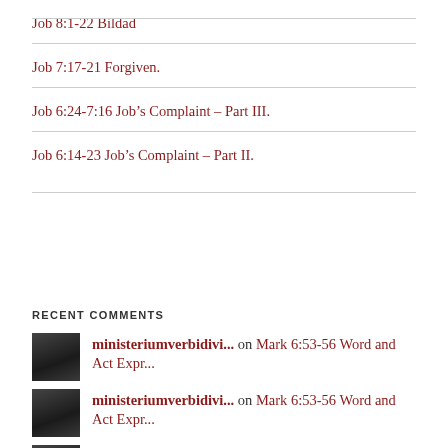Job 8:1-22 Bildad
Job 7:17-21 Forgiven.
Job 6:24-7:16 Job's Complaint – Part III.
Job 6:14-23 Job's Complaint – Part II.
RECENT COMMENTS
ministeriumverbidivi... on Mark 6:53-56 Word and Act Expr...
ministeriumverbidivi... on Mark 6:53-56 Word and Act Expr...
ministeriumverbidivi... on Ecclesiastes